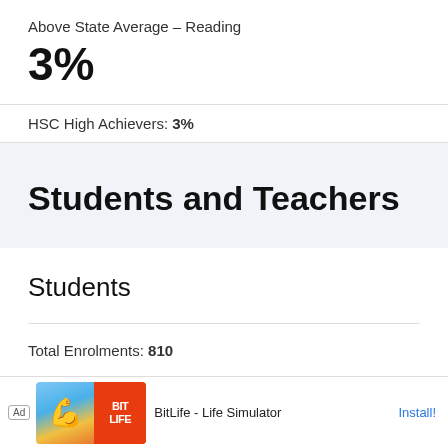Above State Average – Reading
3%
HSC High Achievers: 3%
Students and Teachers
Students
Total Enrolments: 810
[Figure (other): Advertisement banner: BitLife - Life Simulator app ad with Install button]